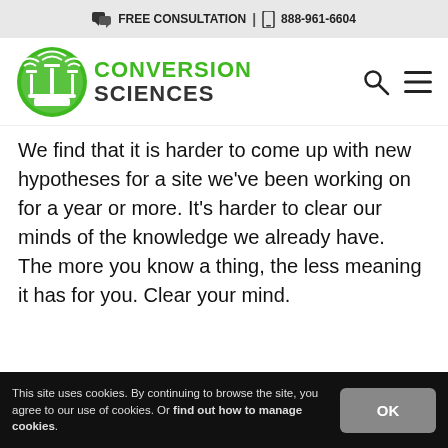FREE CONSULTATION | 888-961-6604
[Figure (logo): Conversion Sciences logo with green circle and text]
We find that it is harder to come up with new hypotheses for a site we've been working on for a year or more. It's harder to clear our minds of the knowledge we already have.
The more you know a thing, the less meaning it has for you. Clear your mind.
This site uses cookies. By continuing to browse the site, you agree to our use of cookies. Or find out how to manage cookies.